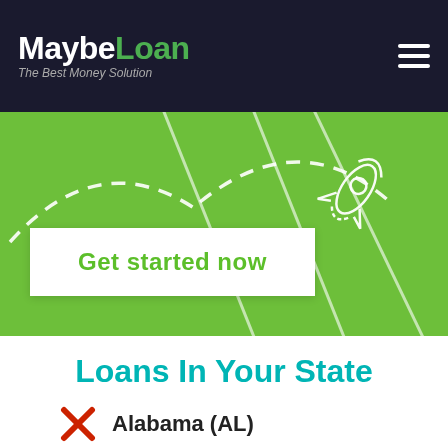[Figure (logo): MaybeLoan logo with text 'The Best Money Solution' and hamburger menu icon on dark background]
[Figure (illustration): Green hero banner with dashed curved lines and rocket illustration, with a white 'Get started now' button]
Loans In Your State
Alabama (AL)